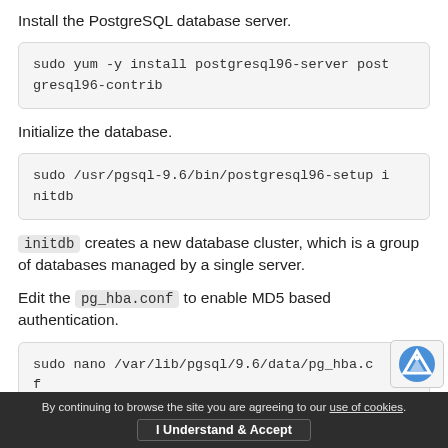Install the PostgreSQL database server.
sudo yum -y install postgresql96-server postgresql96-contrib
Initialize the database.
sudo /usr/pgsql-9.6/bin/postgresql96-setup initdb
initdb creates a new database cluster, which is a group of databases managed by a single server.
Edit the pg_hba.conf to enable MD5 based authentication.
sudo nano /var/lib/pgsql/9.6/data/pg_hba.cf
By continuing to browse the site you are agreeing to our use of cookies. I Understand & Accept